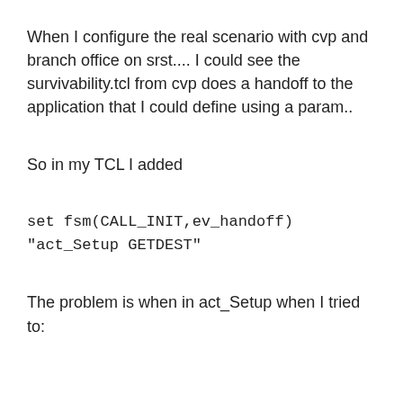When I configure the real scenario with cvp and branch office on srst.... I could see the survivability.tcl from cvp does a handoff to the application that I could define using a param..
So in my TCL I added
set fsm(CALL_INIT,ev_handoff) "act_Setup GETDEST"
The problem is when in act_Setup when I tried to: